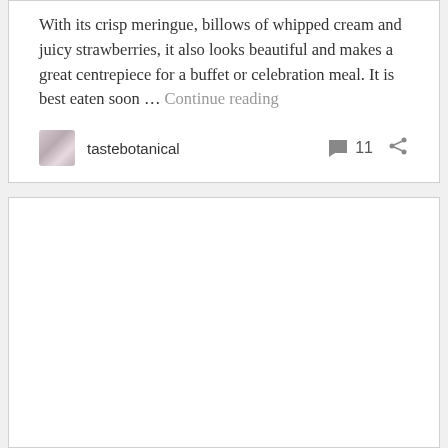With its crisp meringue, billows of whipped cream and juicy strawberries, it also looks beautiful and makes a great centrepiece for a buffet or celebration meal. It is best eaten soon … Continue reading
tastebotanical  11
[Figure (other): Empty white card/box below the first post card]